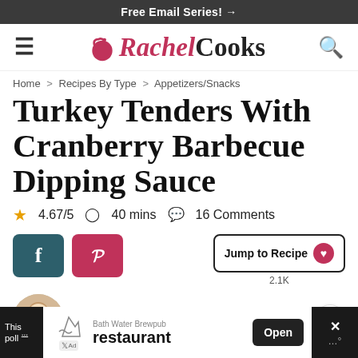Free Email Series! →
[Figure (logo): Rachel Cooks website logo with frying pan icon]
Home > Recipes By Type > Appetizers/Snacks
Turkey Tenders With Cranberry Barbecue Dipping Sauce
★ 4.67/5   🕐 40 mins   💬 16 Comments
Facebook share button, Pinterest share button, Jump to Recipe button (2.1K saves)
By: Rachel Gurk  Posted: 11/17/2014   Updated: 07/12/2021
[Figure (screenshot): Advertisement bar: Bath Water Brewpub restaurant ad with Open button]